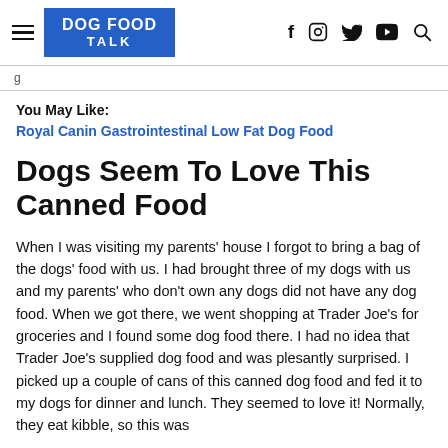DOG FOOD TALK
You May Like:
Royal Canin Gastrointestinal Low Fat Dog Food
Dogs Seem To Love This Canned Food
When I was visiting my parents' house I forgot to bring a bag of the dogs' food with us. I had brought three of my dogs with us and my parents' who don't own any dogs did not have any dog food. When we got there, we went shopping at Trader Joe's for groceries and I found some dog food there. I had no idea that Trader Joe's supplied dog food and was plesantly surprised. I picked up a couple of cans of this canned dog food and fed it to my dogs for dinner and lunch. They seemed to love it! Normally, they eat kibble, so this was